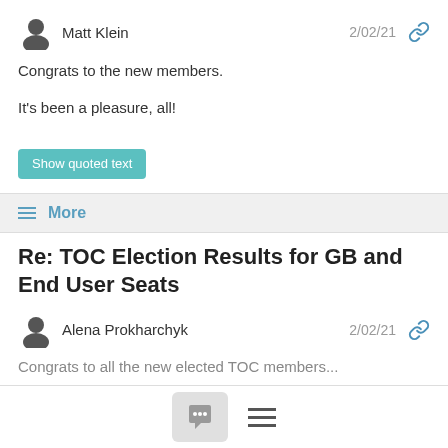Matt Klein  2/02/21
Congrats to the new members.
It's been a pleasure, all!
Show quoted text
≡ More
Re: TOC Election Results for GB and End User Seats
Alena Prokharchyk  2/02/21